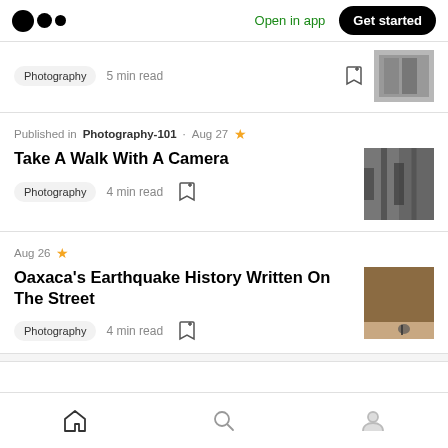Medium logo | Open in app | Get started
Photography · 5 min read
Published in Photography-101 · Aug 27
Take A Walk With A Camera
Photography · 4 min read
Aug 26
Oaxaca's Earthquake History Written On The Street
Photography · 4 min read
Home | Search | Profile